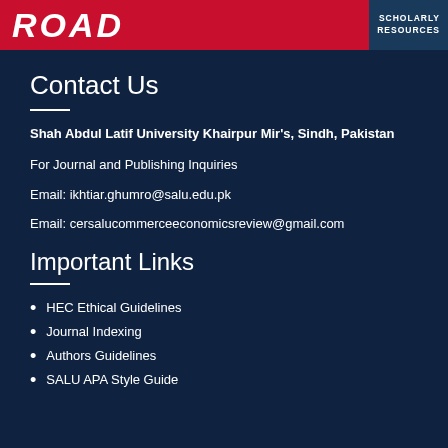[Figure (logo): ROAD Scholarly Resources banner logo with red and dark blue background]
Contact Us
Shah Abdul Latif University Khairpur Mir's, Sindh, Pakistan
For Journal and Publishing Inquiries
Email: ikhtiar.ghumro@salu.edu.pk
Email: cersalucommerceeconomicsreview@gmail.com
Important Links
HEC Ethical Guidelines
Journal Indexing
Authors Guidelines
SALU APA Style Guide